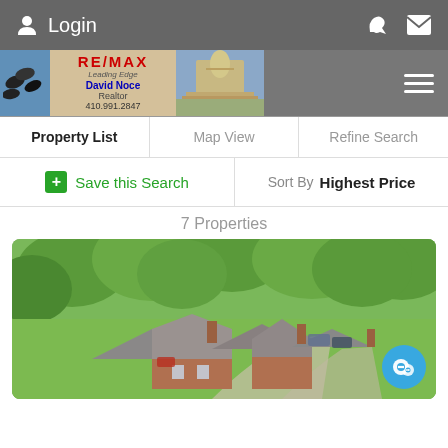Login
[Figure (logo): RE/MAX Leading Edge - David Noce Realtor 410.991.2847 logo with birds and Maryland Capitol]
Property List | Map View | Refine Search
+ Save this Search   Sort By   Highest Price
7 Properties
[Figure (photo): Aerial view of a large brick estate home surrounded by green trees and lawn]